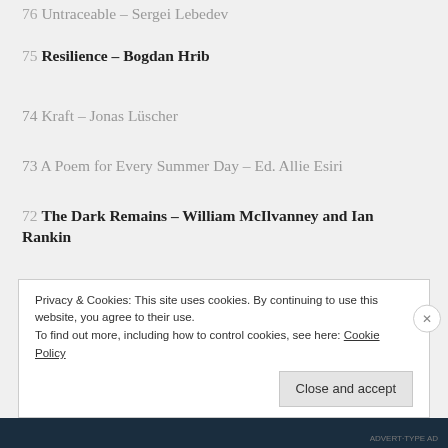76 Untraceable – Sergei Lebedev
75 Resilience – Bogdan Hrib
74 Kraft – Jonas Lüscher
73 A Poem for Every Summer Day – Ed. Allie Esiri
72 The Dark Remains – William McIlvanney and Ian Rankin
71 Rizzio – Denise Mina
70 The Long Drop – Denise Mina
69 Your Inner Hedgehog – Alexander McCall-Smith
Privacy & Cookies: This site uses cookies. By continuing to use this website, you agree to their use. To find out more, including how to control cookies, see here: Cookie Policy
Close and accept